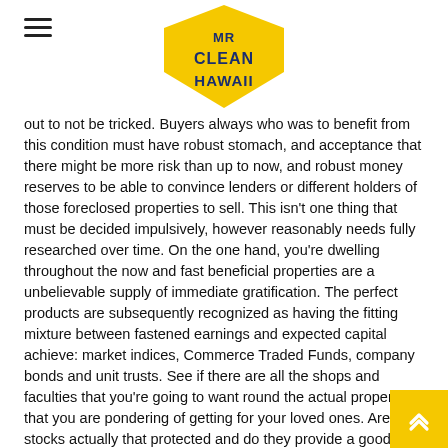MR CLEAN HAWAII
out to not be tricked. Buyers always who was to benefit from this condition must have robust stomach, and acceptance that there might be more risk than up to now, and robust money reserves to be able to convince lenders or different holders of those foreclosed properties to sell. This isn't one thing that must be decided impulsively, however reasonably needs fully researched over time. On the one hand, you're dwelling throughout the now and fast beneficial properties are a unbelievable supply of immediate gratification. The perfect products are subsequently recognized as having the fitting mixture between fastened earnings and expected capital achieve: market indices, Commerce Traded Funds, company bonds and unit trusts. See if there are all the shops and faculties that you're going to want round the actual property that you are pondering of getting for your loved ones. Are stocks actually that protected and do they provide a good return? But, the funding will in all probability be extra lengthy-time period than regular, although the speed how much do you need to start investing of return on investment might be excessive, finally.